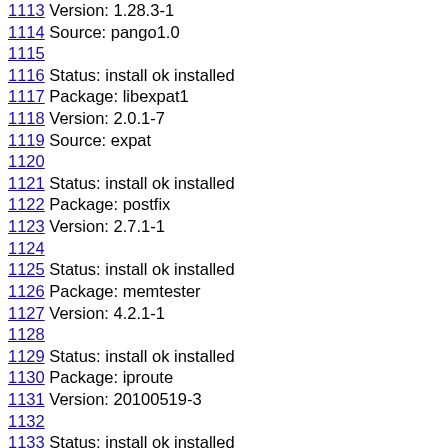1113 Version: 1.28.3-1
1114 Source: pango1.0
1115
1116 Status: install ok installed
1117 Package: libexpat1
1118 Version: 2.0.1-7
1119 Source: expat
1120
1121 Status: install ok installed
1122 Package: postfix
1123 Version: 2.7.1-1
1124
1125 Status: install ok installed
1126 Package: memtester
1127 Version: 4.2.1-1
1128
1129 Status: install ok installed
1130 Package: iproute
1131 Version: 20100519-3
1132
1133 Status: install ok installed
1134 Package: gddrescue
1135 Version: 1.11-1
1136
1137 Status: install ok installed
1138 Package: ...